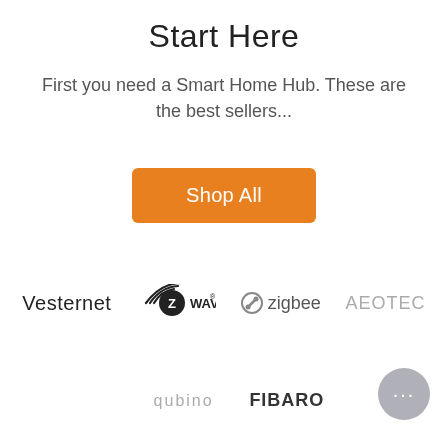Start Here
First you need a Smart Home Hub. These are the best sellers...
[Figure (other): Orange 'Shop All' button]
[Figure (other): Brand logos row 1: Vesternet, Z-Wave, Zigbee, Aeotec]
[Figure (other): Brand logos row 2: Qubino, Fibaro; chat bubble icon bottom right]